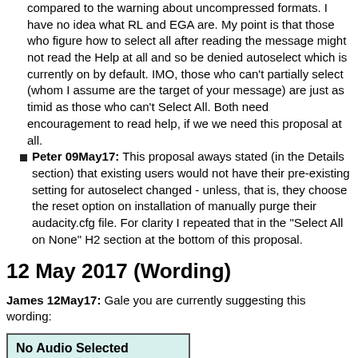compared to the warning about uncompressed formats. I have no idea what RL and EGA are. My point is that those who figure how to select all after reading the message might not read the Help at all and so be denied autoselect which is currently on by default. IMO, those who can't partially select (whom I assume are the target of your message) are just as timid as those who can't Select All. Both need encouragement to read help, if we we need this proposal at all.
Peter 09May17: This proposal aways stated (in the Details section) that existing users would not have their pre-existing setting for autoselect changed - unless, that is, they choose the reset option on installation of manually purge their audacity.cfg file. For clarity I repeated that in the "Select All on None" H2 section at the bottom of this proposal.
12 May 2017 (Wording)
James 12May17: Gale you are currently suggesting this wording:
[Figure (other): Dialog box with light teal background, titled 'No Audio Selected' in bold, with a horizontal rule below the title, and body text reading 'Cannot apply Normalize. Select the audio for it to use (for']